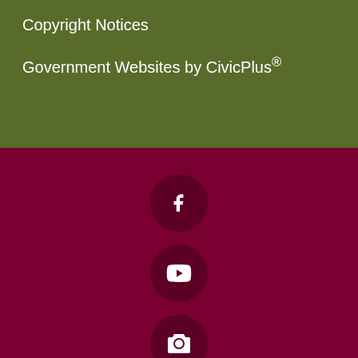Copyright Notices
Government Websites by CivicPlus®
[Figure (infographic): Dark maroon section with five social media icon circles (Facebook, YouTube, Camera/Photo, Instagram, Share) arranged vertically in the center]